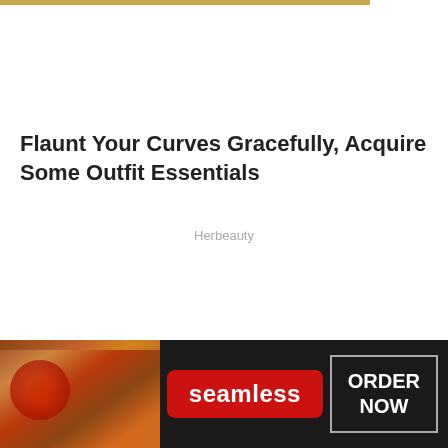Flaunt Your Curves Gracefully, Acquire Some Outfit Essentials
Herbeauty
[Figure (photo): Advertisement banner for Seamless food delivery showing pizza slices on the left, Seamless logo in red, and an ORDER NOW button on dark background]